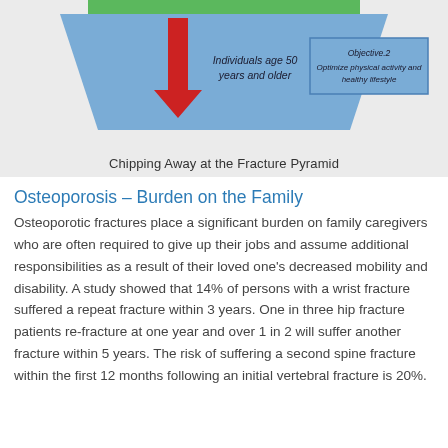[Figure (infographic): Partial view of the Fracture Pyramid diagram showing a blue trapezoid shape with 'Individuals age 50 years and older' label and a red downward arrow, with a green bar at top, and a blue box labeled 'Objective: Optimize physical activity and healthy lifestyle']
Chipping Away at the Fracture Pyramid
Osteoporosis – Burden on the Family
Osteoporotic fractures place a significant burden on family caregivers who are often required to give up their jobs and assume additional responsibilities as a result of their loved one's decreased mobility and disability. A study showed that 14% of persons with a wrist fracture suffered a repeat fracture within 3 years. One in three hip fracture patients re-fracture at one year and over 1 in 2 will suffer another fracture within 5 years. The risk of suffering a second spine fracture within the first 12 months following an initial vertebral fracture is 20%.